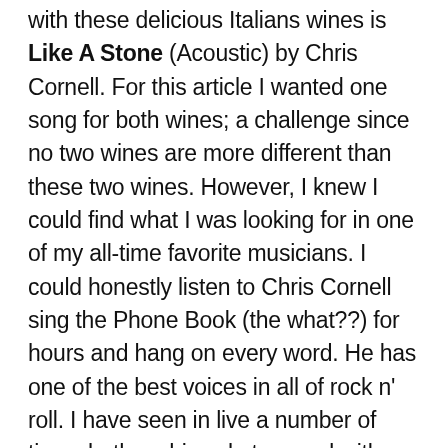with these delicious Italians wines is Like A Stone (Acoustic) by Chris Cornell. For this article I wanted one song for both wines; a challenge since no two wines are more different than these two wines. However, I knew I could find what I was looking for in one of my all-time favorite musicians. I could honestly listen to Chris Cornell sing the Phone Book (the what??) for hours and hang on every word. He has one of the best voices in all of rock n' roll. I have seen in live a number of times both on his solo tour and with Soundgarden. Unfortunately I did not have the pleasure of seeing Audioslave live; a great disappointment for me. If you are familiar with the Audioslave song Like A Stone you know it is a great rock song. However,